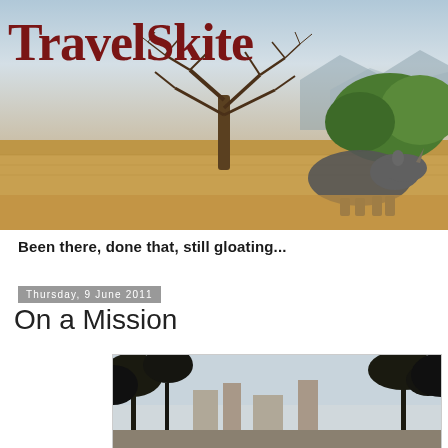[Figure (photo): TravelSkite blog header banner showing an African savanna scene with a bare acacia tree, green bush, rhino in the foreground grass, and mountains in the background. The text 'TravelSkite' appears in large dark red serif font on the upper left.]
Been there, done that, still gloating...
Thursday, 9 June 2011
On a Mission
[Figure (photo): Partial photo showing trees silhouetted against a light sky with buildings or structures partially visible below.]